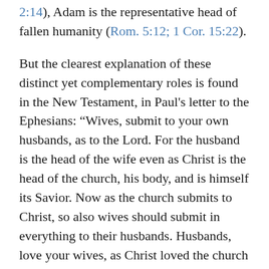2:14), Adam is the representative head of fallen humanity (Rom. 5:12; 1 Cor. 15:22).
But the clearest explanation of these distinct yet complementary roles is found in the New Testament, in Paul's letter to the Ephesians: “Wives, submit to your own husbands, as to the Lord. For the husband is the head of the wife even as Christ is the head of the church, his body, and is himself its Savior. Now as the church submits to Christ, so also wives should submit in everything to their husbands. Husbands, love your wives, as Christ loved the church and gave himself up for her” (Eph. 5:22-25ff.).